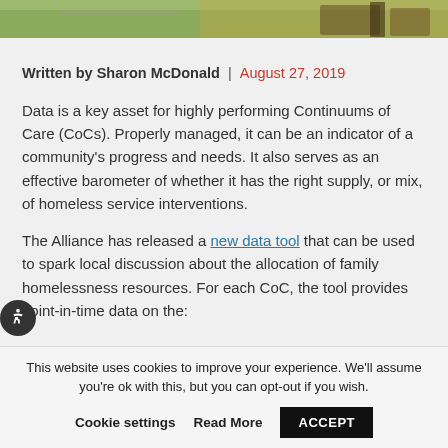[Figure (photo): Top portion of an outdoor photo showing playground equipment or furniture on a path with grass and gravel visible]
Written by Sharon McDonald | August 27, 2019
Data is a key asset for highly performing Continuums of Care (CoCs). Properly managed, it can be an indicator of a community's progress and needs. It also serves as an effective barometer of whether it has the right supply, or mix, of homeless service interventions.
The Alliance has released a new data tool that can be used to spark local discussion about the allocation of family homelessness resources. For each CoC, the tool provides point-in-time data on the:
This website uses cookies to improve your experience. We'll assume you're ok with this, but you can opt-out if you wish.
Cookie settings   Read More   ACCEPT